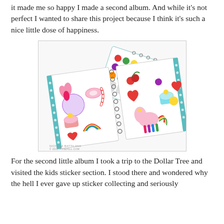it made me so happy I made a second album. And while it's not perfect I wanted to share this project because I think it's such a nice little dose of happiness.
[Figure (photo): Photo of two spiral-bound sticker albums open and overlapping, filled with colorful stickers including unicorns, rainbows, cupcakes, hearts, candy, and round dot stickers. The albums have teal polka-dot covers. Watermark reads NICHOLA BATTILANA © 2019 PIXIEHILL.COM]
For the second little album I took a trip to the Dollar Tree and visited the kids sticker section. I stood there and wondered why the hell I ever gave up sticker collecting and seriously